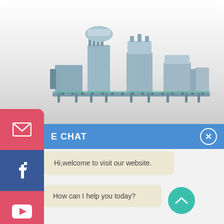[Figure (photo): Industrial bottling/filling machine production line with multiple stations including filling, capping, and labeling units on a conveyor system, shown against a light grey background]
[Figure (screenshot): Live chat widget overlay showing a blue header bar with 'E CHAT' label and close button, featuring two chat messages from agent 'Cilina': 'Hi,welcome to visit our website.' and 'How can I help you today?' with circular avatar photos and a teal scroll-up button]
[Figure (infographic): Red and blue social media sidebar with email (envelope), Facebook (f), YouTube (play button), and Pinterest (p) icon buttons]
E CHAT
Hi,welcome to visit our website.
Cilina
How can I help you today?
Cilina